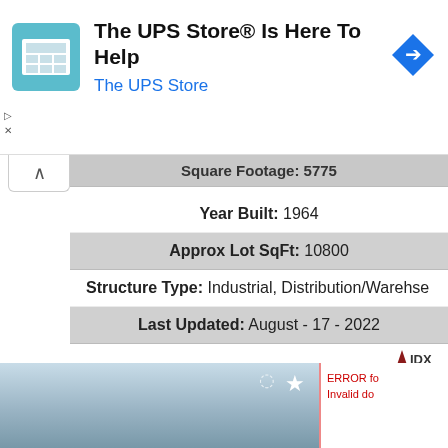[Figure (screenshot): UPS Store advertisement banner with store icon, text 'The UPS Store® Is Here To Help', subtitle 'The UPS Store', and a blue navigation arrow icon]
Square Footage: 5775
Year Built: 1964
Approx Lot SqFt: 10800
Structure Type: Industrial, Distribution/Warehse
Last Updated: August - 17 - 2022
$1,450,000
4911 E FALCON Drive
Mesa, AZ 85215
[Figure (photo): Partial photo of property with blue sky, star icon overlay, and error message 'ERROR for Invalid do']